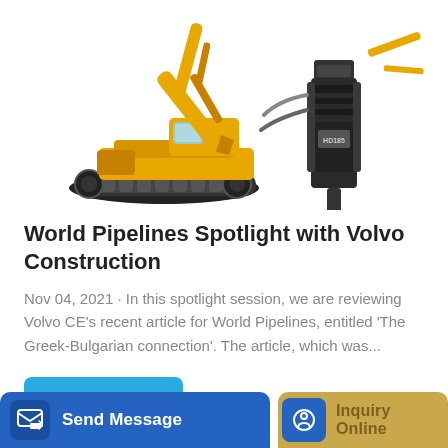[Figure (photo): Yellow excavator with hydraulic breaker attachment on white background]
World Pipelines Spotlight with Volvo Construction
Nov 04, 2021 · In this spotlight session, we are reviewing Volvo CE's recent article for World Pipelines, entitled 'The Greek-Bulgarian connection'. The article, which was...
Learn More
Send Message
Inquiry Online